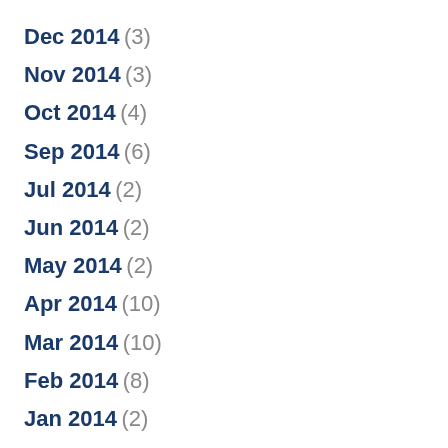Dec 2014 (3)
Nov 2014 (3)
Oct 2014 (4)
Sep 2014 (6)
Jul 2014 (2)
Jun 2014 (2)
May 2014 (2)
Apr 2014 (10)
Mar 2014 (10)
Feb 2014 (8)
Jan 2014 (2)
Dec 2013 (2)